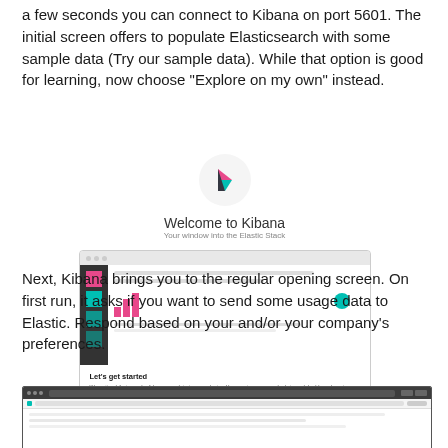a few seconds you can connect to Kibana on port 5601. The initial screen offers to populate Elasticsearch with some sample data (Try our sample data). While that option is good for learning, now choose “Explore on my own” instead.
[Figure (screenshot): Kibana welcome screen showing the Kibana logo, 'Welcome to Kibana' title with subtitle 'Your window into the Elastic Stack', a preview of the Kibana dashboard interface, and two buttons: 'Try our sample data' (blue) and 'Explore on my own' (link).]
Next, Kibana brings you to the regular opening screen. On first run, it asks if you want to send some usage data to Elastic. Respond based on your and/or your company’s preferences.
[Figure (screenshot): Kibana browser screenshot showing the regular opening screen asking about sending usage data to Elastic.]